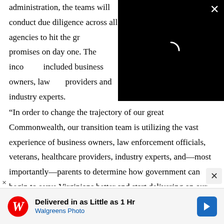administration, the teams will conduct due diligence across all agencies to hit the gr… promises on day one. The inco… included business owners, law … providers and industry experts.
[Figure (screenshot): Black video player overlay with a loading spinner (partial circle arc) in the center and a white X close button in the top-right corner.]
"In order to change the trajectory of our great Commonwealth, our transition team is utilizing the vast experience of business owners, law enforcement officials, veterans, healthcare providers, industry experts, and—most importantly—parents to determine how government can begin to serve Virginians better and start delivering on our Day One promises of better schools, safer streets
[Figure (screenshot): Small X close button on the right side of the page, gray background, near bottom of visible content area.]
[Figure (screenshot): Walgreens Photo advertisement banner at the bottom: 'Delivered in as Little as 1 Hr' with Walgreens cursive W logo and blue navigation arrow icon, plus an X close button.]